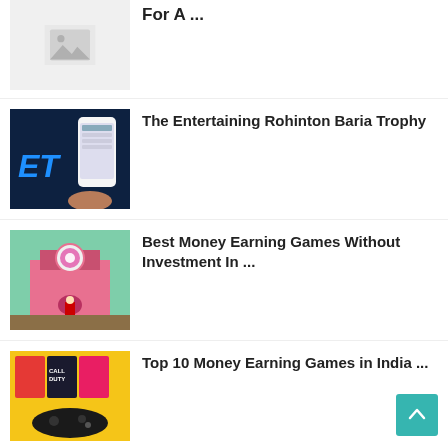[Figure (photo): Placeholder image thumbnail with mountain/image icon]
For A ...
[Figure (photo): Dark blue background with a hand holding a smartphone showing a betting app, with 'ET' text visible in blue]
The Entertaining Rohinton Baria Trophy
[Figure (photo): Video game screenshot showing a colorful building with a large pink Pokeball, a character in red standing outside]
Best Money Earning Games Without Investment In ...
[Figure (photo): Yellow background with PS4 game covers including Call of Duty, and a black game controller]
Top 10 Money Earning Games in India ...